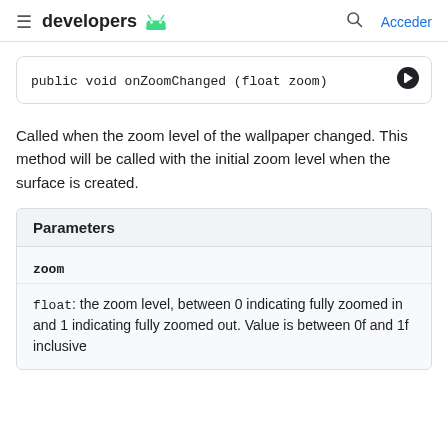developers  Acceder
Called when the zoom level of the wallpaper changed. This method will be called with the initial zoom level when the surface is created.
| Parameters |
| --- |
| zoom |
| float: the zoom level, between 0 indicating fully zoomed in and 1 indicating fully zoomed out. Value is between 0f and 1f inclusive |